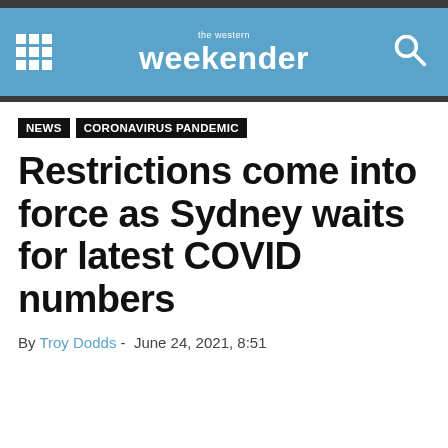the western weekender
NEWS | CORONAVIRUS PANDEMIC
Restrictions come into force as Sydney waits for latest COVID numbers
By Troy Dodds -  June 24, 2021, 8:51